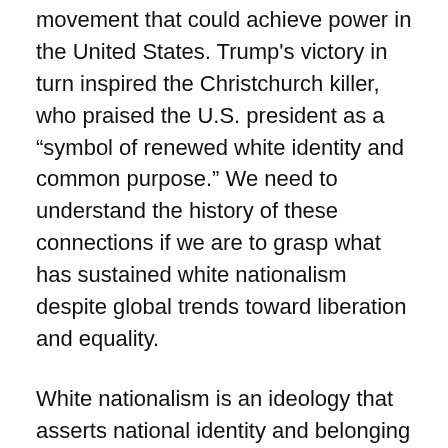movement that could achieve power in the United States. Trump's victory in turn inspired the Christchurch killer, who praised the U.S. president as a “symbol of renewed white identity and common purpose.” We need to understand the history of these connections if we are to grasp what has sustained white nationalism despite global trends toward liberation and equality.
White nationalism is an ideology that asserts national identity and belonging in terms of European descent. Accordingly, white nationalists see their countries as threatened by immigration and social advancement by non-whites. They contend that national identity and belonging must be built around racial whiteness—rather than culture, language, or place—and that it is the whiteness of the nation’s past, present, and future that ensures its continued historical development and survival